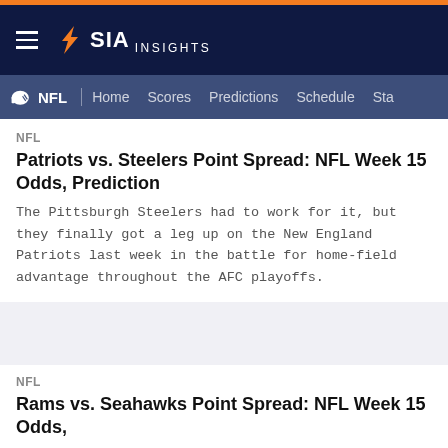SIA INSIGHTS
NFL | Home Scores Predictions Schedule Sta
NFL
Patriots vs. Steelers Point Spread: NFL Week 15 Odds, Prediction
The Pittsburgh Steelers had to work for it, but they finally got a leg up on the New England Patriots last week in the battle for home-field advantage throughout the AFC playoffs.
NFL
Rams vs. Seahawks Point Spread: NFL Week 15 Odds,